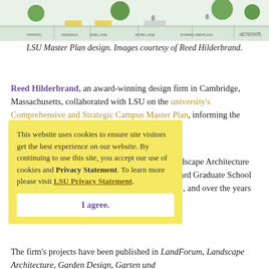[Figure (illustration): LSU Master Plan design cross-section diagram showing lanes including parking, sidewalk, bike lane, work lane, shared use/plaza, and veloschool with trees and figures above.]
LSU Master Plan design. Images courtesy of Reed Hilderbrand.
Reed Hilderbrand, an award-winning design firm in Cambridge, Massachusetts, collaborated with LSU on the university's Comprehensive and Strategic Campus Master Plan, informing the landscape architecture plans.
This website uses cookies to ensure site visitors get the best experience on our website. By continuing to use this site, you accept our use of cookies and Privacy Statement. To learn more please visit LSU Privacy Statement.
I agree.
Doug Reed, FASLA, received a Bachelor of Landscape Architecture from LSU in 1978, and is a graduate of the Harvard Graduate School of Design. He founded Reed Hilderbrand in 1993, and over the years the firm has housed generations of LSU alumni.
The firm's projects have been published in LandForum, Landscape Architecture, Garden Design, Garten und